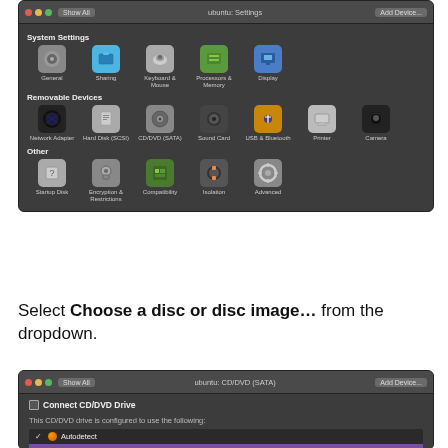[Figure (screenshot): macOS-style VMware settings panel showing System Settings (General, Sharing, Keyboard & Mouse, Processors & Memory, Display), Removable Devices (Network Adapter, Hard Disk (SCSI), CD/DVD (SATA), Sound Card, USB & Bluetooth, Printer, Camera), and Other (Startup Disk, Encryption & Restrictions, Compatibility, Isolation, Advanced)]
Select Choose a disc or disc image… from the dropdown.
[Figure (screenshot): VMware CD/DVD (SATA) dialog showing Connect CD/DVD Drive checkbox, configuration text, Autodetect option with checkmark, and highlighted 'Choose a disc or disc image...' option in purple]